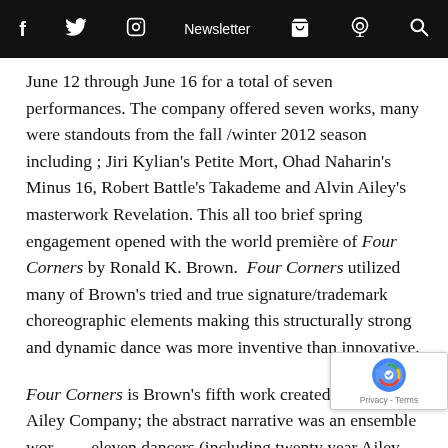f  Twitter  Instagram  Newsletter  Cart  Podcast  Search
June 12 through June 16 for a total of seven performances. The company offered seven works, many were standouts from the fall /winter 2012 season including ; Jiri Kylian’s Petite Mort, Ohad Naharin’s Minus 16, Robert Battle’s Takademe and Alvin Ailey’s masterwork Revelation. This all too brief spring engagement opened with the world première of Four Corners by Ronald K. Brown. Four Corners utilized many of Brown’s tried and true signature/trademark choreographic elements making this structurally strong and dynamic dance was more inventive than innovative.
Four Corners is Brown’s fifth work created for the Ailey Company; the abstract narrative was an ensemble work eleven dancers (including twenty year Ailey veteran/guest artist Matthew Rushing) who are seeking a life of peace. The